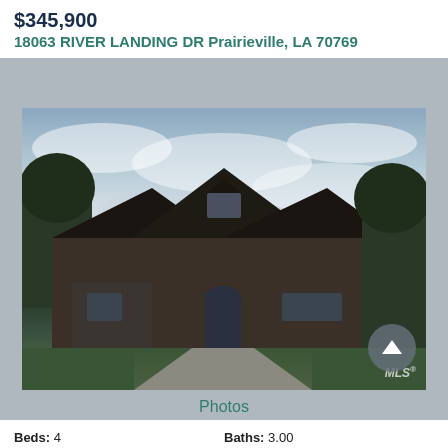$345,900
18063 RIVER LANDING DR Prairieville, LA 70769
[Figure (photo): Exterior front view of a single-family brick home with dark roof, arched entryway, two-car driveway, green lawn, and overcast sky.]
Photos
Beds: 4   Baths: 3.00
Sq.Ft.: 2,207   Status: NEW LISTING
MLS#: 2022013047   Type: Single Family